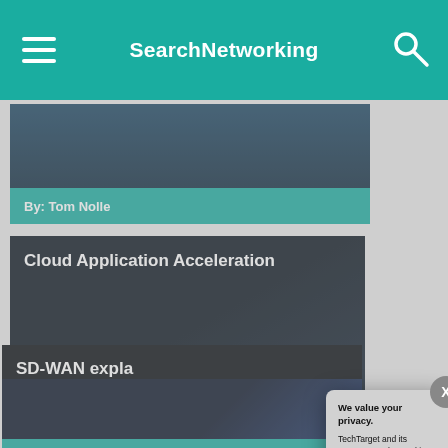SearchNetworking
By: Tom Nolle
Cloud Application Acceleration
By: Steve Broadh...
SD-WAN expla...
By: Michaela Gos...
We value your privacy.
TechTarget and its partners employ cookies to improve your experience on our site, to analyze traffic and performance, and to serve personalized content and advertising that are relevant to your professional interests. You can manage your settings at any time. Please view our Privacy Policy for more information